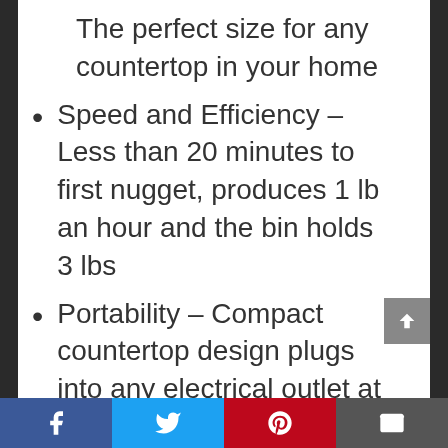The perfect size for any countertop in your home
Speed and Efficiency – Less than 20 minutes to first nugget, produces 1 lb an hour and the bin holds 3 lbs
Portability – Compact countertop design plugs into any electrical outlet at home and can come with you to your next camping or tailgating extravaganza
Bluetooth – Set up your ice making schedule from the convenience of the FirstBuild app
The actual quantity of ice produced
Facebook | Twitter | Pinterest | Email